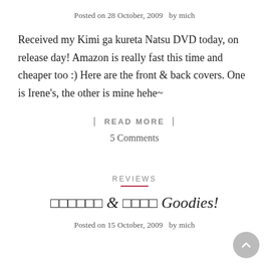Posted on 28 October, 2009   by mich
Received my Kimi ga kureta Natsu DVD today, on release day! Amazon is really fast this time and cheaper too :) Here are the front & back covers. One is Irene's, the other is mine hehe~
| READ MORE |
5 Comments
REVIEWS
□□□□□□ & □□□□ Goodies!
Posted on 15 October, 2009   by mich